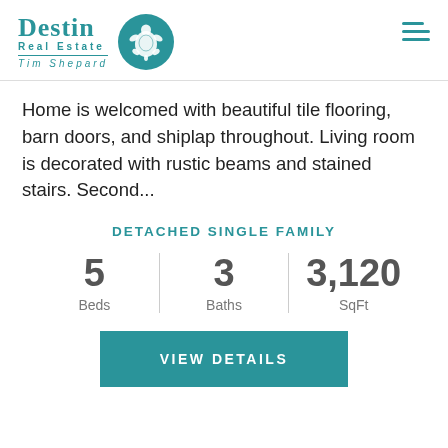[Figure (logo): Destin Real Estate Tim Shepard logo with teal turtle circle icon]
Home is welcomed with beautiful tile flooring, barn doors, and shiplap throughout. Living room is decorated with rustic beams and stained stairs. Second...
DETACHED SINGLE FAMILY
| Beds | Baths | SqFt |
| --- | --- | --- |
| 5 | 3 | 3,120 |
VIEW DETAILS